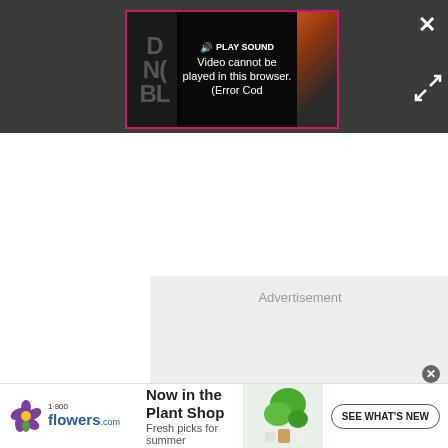[Figure (screenshot): Video player with error overlay showing 'Video cannot be played in this browser. (Error Cod' with a PLAY SOUND button. Pink/magenta border around the player. Dark background bar. X close button and expand arrows visible.]
Advertisement
[Figure (screenshot): 1-800-flowers.com advertisement banner: logo with flower icon, headline 'Now in the Plant Shop', subtext 'Fresh picks for summer', photo of potted plants, and 'SEE WHAT'S NEW' button.]